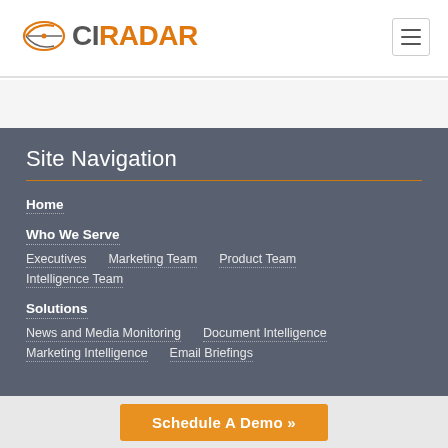CIRADAR
Site Navigation
Home
Who We Serve
Executives
Marketing Team
Product Team
Intelligence Team
Solutions
News and Media Monitoring
Document Intelligence
Marketing Intelligence
Email Briefings
Schedule A Demo »